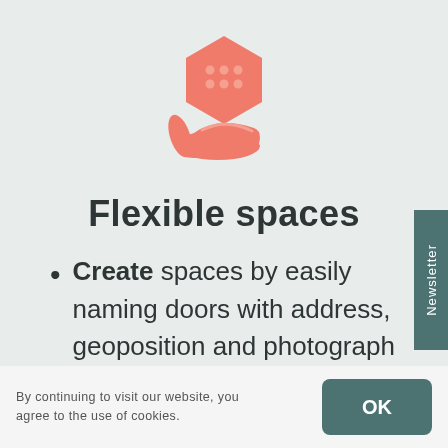[Figure (illustration): A salmon/coral colored icon of a hand holding a hexagonal house/building shape with dots on it, representing flexible spaces.]
Flexible spaces
Create spaces by easily naming doors with address, geoposition and photograph for easy
Newsletter
By continuing to visit our website, you agree to the use of cookies.
OK